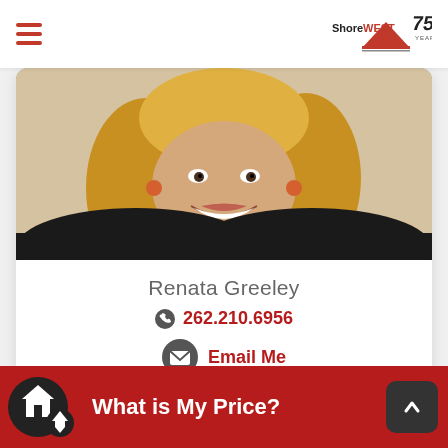ShoreWest 75 Years
[Figure (photo): Professional headshot of Renata Greeley, smiling woman with blonde hair and orange earrings, wearing black top]
Renata Greeley
262.210.6956
Email Me
Text Me
What is My Price?